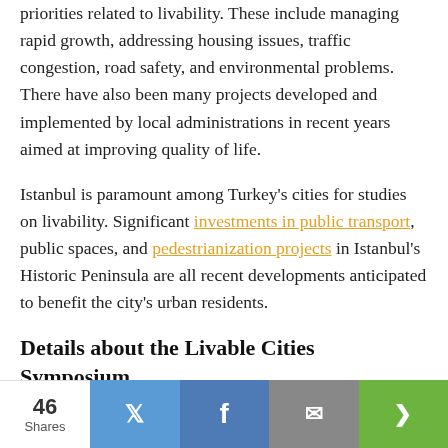priorities related to livability. These include managing rapid growth, addressing housing issues, traffic congestion, road safety, and environmental problems. There have also been many projects developed and implemented by local administrations in recent years aimed at improving quality of life.
Istanbul is paramount among Turkey's cities for studies on livability. Significant investments in public transport, public spaces, and pedestrianization projects in Istanbul's Historic Peninsula are all recent developments anticipated to benefit the city's urban residents.
Details about the Livable Cities Symposium
This week's Livable Cities Symposium will focus on urban transportation and road safety, and the relationship
46 Shares | Twitter | Facebook | Email | Share